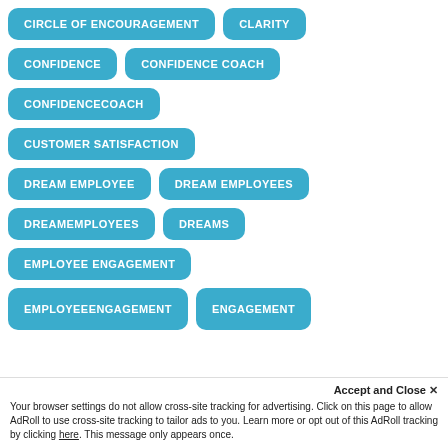CIRCLE OF ENCOURAGEMENT
CLARITY
CONFIDENCE
CONFIDENCE COACH
CONFIDENCECOACH
CUSTOMER SATISFACTION
DREAM EMPLOYEE
DREAM EMPLOYEES
DREAMEMPLOYEES
DREAMS
EMPLOYEE ENGAGEMENT
Accept and Close ×
Your browser settings do not allow cross-site tracking for advertising. Click on this page to allow AdRoll to use cross-site tracking to tailor ads to you. Learn more or opt out of this AdRoll tracking by clicking here. This message only appears once.